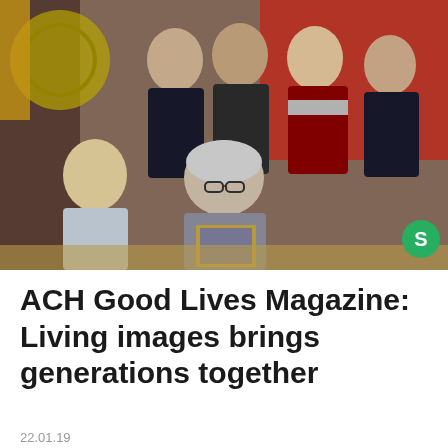[Figure (photo): Group photo of an elderly woman seated at a table holding a framed photograph, surrounded by five young women in school uniforms, in an indoor setting with red and wooden decor. A green circle avatar with letter S is overlaid in the bottom right corner.]
ACH Good Lives Magazine: Living images brings generations together
22.01.19